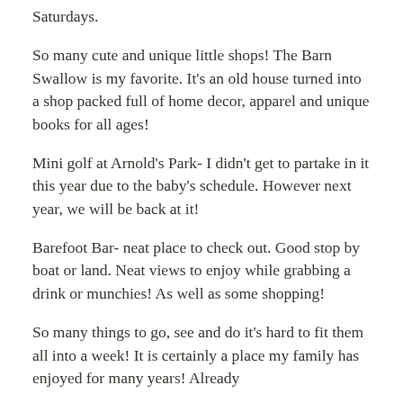Saturdays.
So many cute and unique little shops! The Barn Swallow is my favorite. It's an old house turned into a shop packed full of home decor, apparel and unique books for all ages!
Mini golf at Arnold's Park- I didn't get to partake in it this year due to the baby's schedule. However next year, we will be back at it!
Barefoot Bar- neat place to check out. Good stop by boat or land. Neat views to enjoy while grabbing a drink or munchies! As well as some shopping!
So many things to go, see and do it's hard to fit them all into a week! It is certainly a place my family has enjoyed for many years! Already